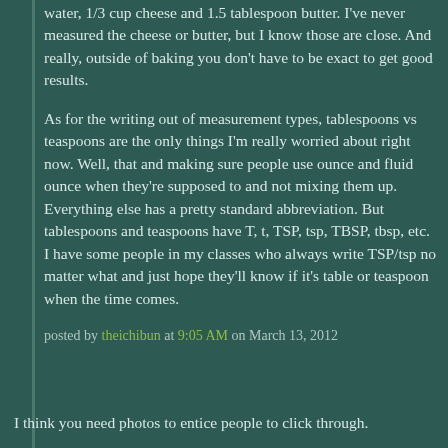water, 1/3 cup cheese and 1.5 tablespoon butter. I've never measured the cheese or butter, but I know those are close. And really, outside of baking you don't have to be exact to get good results.
As for the writing out of measurement types, tablespoons vs teaspoons are the only things I'm really worried about right now. Well, that and making sure people use ounce and fluid ounce when they're supposed to and not mixing them up. Everything else has a pretty standard abbreviation. But tablespoons and teaspoons have T, t, TSP, tsp, TBSP, tbsp, etc. I have some people in my classes who always write TSP/tsp no matter what and just hope they'll know if it's table or teaspoon when the time comes.
posted by theichibun at 9:05 AM on March 13, 2012
I think you need photos to entice people to click through.